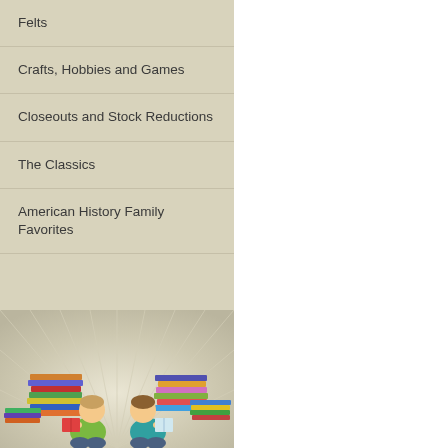Felts
Crafts, Hobbies and Games
Closeouts and Stock Reductions
The Classics
American History Family Favorites
[Figure (photo): Two young children sitting back to back reading books, surrounded by large stacks of colorful books, on a warm beige/cream radial burst background]